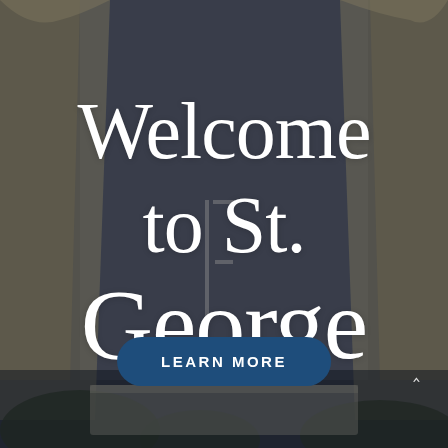[Figure (photo): Dark-toned photograph of a church interior with brick walls, draped curtains/canopies in gold/cream on the sides, candles or altar fixtures in the center background, and greenery/foliage at the bottom. Used as full-bleed background image.]
Welcome to St. George
LEARN MORE